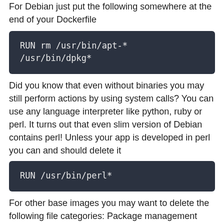For Debian just put the following somewhere at the end of your Dockerfile
RUN rm /usr/bin/apt-* /usr/bin/dpkg*
Did you know that even without binaries you may still perform actions by using system calls? You can use any language interpreter like python, ruby or perl. It turns out that even slim version of Debian contains perl! Unless your app is developed in perl you can and should delete it
RUN /usr/bin/perl*
For other base images you may want to delete the following file categories: Package management tools: yum, rpm, dpkg, apt Any language interpreter that is unused by your app: ruby, perl, python, etc. Utilities that can be used to download remote content: wget, curl, http, scp, rsync Network connectivity tools: ssh, telnet, rsh